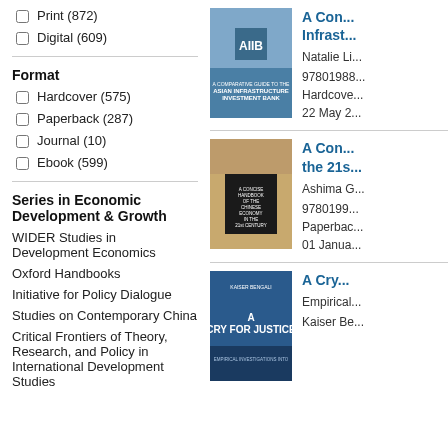Print (872)
Digital (609)
Format
Hardcover (575)
Paperback (287)
Journal (10)
Ebook (599)
Series in Economic Development & Growth
WIDER Studies in Development Economics
Oxford Handbooks
Initiative for Policy Dialogue
Studies on Contemporary China
Critical Frontiers of Theory, Research, and Policy in International Development Studies
A Comparative Guide to the Asian Infrastructure Investment Bank
Natalie Li
9780198... Hardcover 22 May 2...
A Concise Handbook of the Chinese Economy in the 21st Century
Ashima G...
9780199... Paperback 01 Janua...
A Cry for Justice
Empirical...
Kaiser Be...